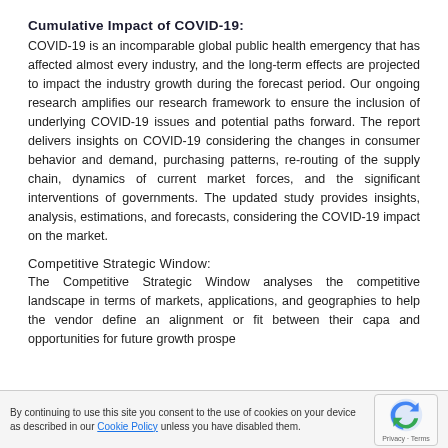Cumulative Impact of COVID-19:
COVID-19 is an incomparable global public health emergency that has affected almost every industry, and the long-term effects are projected to impact the industry growth during the forecast period. Our ongoing research amplifies our research framework to ensure the inclusion of underlying COVID-19 issues and potential paths forward. The report delivers insights on COVID-19 considering the changes in consumer behavior and demand, purchasing patterns, re-routing of the supply chain, dynamics of current market forces, and the significant interventions of governments. The updated study provides insights, analysis, estimations, and forecasts, considering the COVID-19 impact on the market.
Competitive Strategic Window:
The Competitive Strategic Window analyses the competitive landscape in terms of markets, applications, and geographies to help the vendor define an alignment or fit between their capa and opportunities for future growth prospe
By continuing to use this site you consent to the use of cookies on your device as described in our Cookie Policy unless you have disabled them.